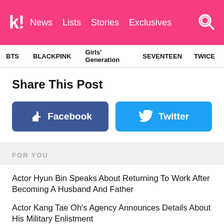k! News Lists Stories Exclusives
BTS  BLACKPINK  Girls' Generation  SEVENTEEN  TWICE
Share This Post
[Figure (other): Facebook and Twitter share buttons]
FOR YOU
Actor Hyun Bin Speaks About Returning To Work After Becoming A Husband And Father
Actor Kang Tae Oh's Agency Announces Details About His Military Enlistment